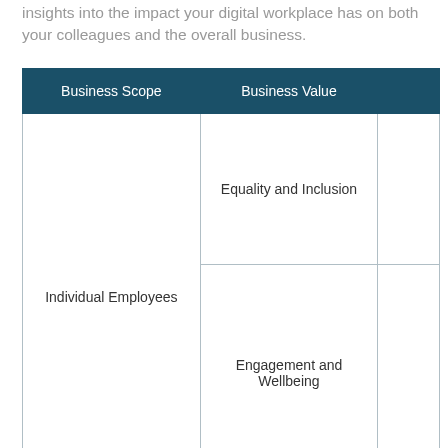insights into the impact your digital workplace has on both your colleagues and the overall business.
| Business Scope | Business Value |  |
| --- | --- | --- |
| Individual Employees | Equality and Inclusion |  |
| Individual Employees | Engagement and Wellbeing |  |
|  | Business Efficiency |  |